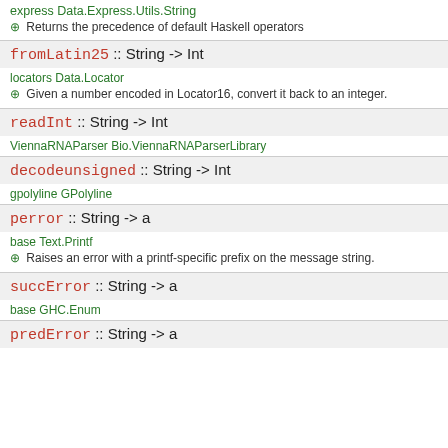express Data.Express.Utils.String
⊕ Returns the precedence of default Haskell operators
fromLatin25 :: String -> Int
locators Data.Locator
⊕ Given a number encoded in Locator16, convert it back to an integer.
readInt :: String -> Int
ViennaRNAParser Bio.ViennaRNAParserLibrary
decodeunsigned :: String -> Int
gpolyline GPolyline
perror :: String -> a
base Text.Printf
⊕ Raises an error with a printf-specific prefix on the message string.
succError :: String -> a
base GHC.Enum
predError :: String -> a